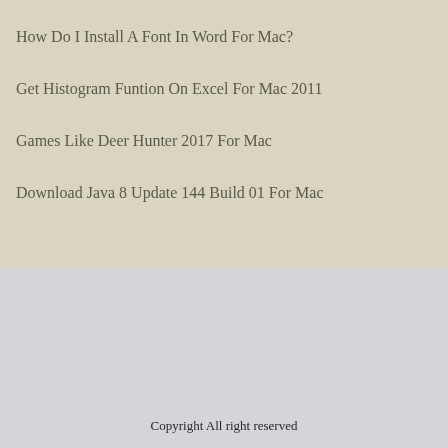How Do I Install A Font In Word For Mac?
Get Histogram Funtion On Excel For Mac 2011
Games Like Deer Hunter 2017 For Mac
Download Java 8 Update 144 Build 01 For Mac
Copyright All right reserved